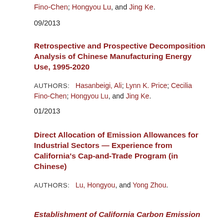Fino-Chen; Hongyou Lu, and Jing Ke.
09/2013
Retrospective and Prospective Decomposition Analysis of Chinese Manufacturing Energy Use, 1995-2020
AUTHORS: Hasanbeigi, Ali; Lynn K. Price; Cecilia Fino-Chen; Hongyou Lu, and Jing Ke.
01/2013
Direct Allocation of Emission Allowances for Industrial Sectors — Experience from California's Cap-and-Trade Program (in Chinese)
AUTHORS: Lu, Hongyou, and Yong Zhou.
Establishment of California Carbon Emission...